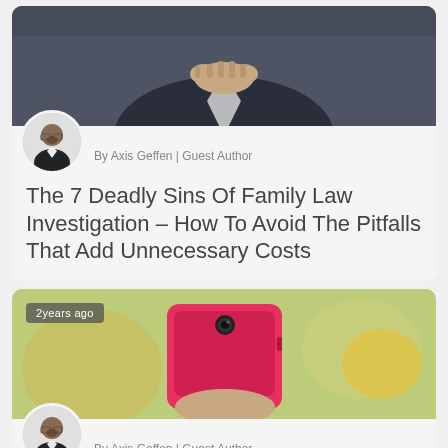[Figure (photo): Man in suit with hands clasped, viewed from above]
By Axis Geffen | Guest Author
The 7 Deadly Sins Of Family Law Investigation – How To Avoid The Pitfalls That Add Unnecessary Costs
[Figure (photo): Person holding pink smartphone outdoors]
2years ago
By Axis Geffen | Guest Author